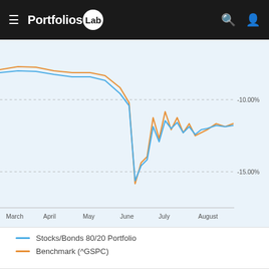PortfoliosLab
[Figure (line-chart): Line chart showing two series (Stocks/Bonds 80/20 Portfolio in blue and Benchmark ^GSPC in orange) from March to August. Both lines show drawdown with a significant drop around late June reaching approximately -15%, then recovering to around -10% range through July and August.]
Stocks/Bonds 80/20 Portfolio
Benchmark (^GSPC)
Portfolio components